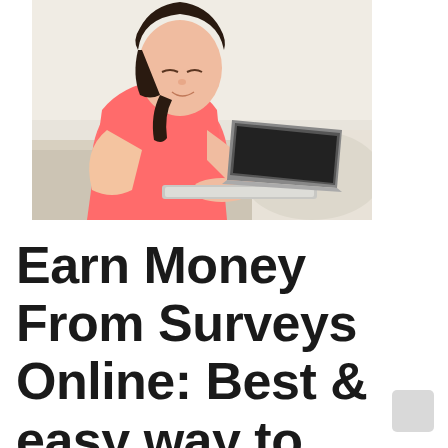[Figure (photo): A young Asian woman in a pink sleeveless top sitting on a light-colored sofa, leaning forward and typing on a white laptop computer. The background is bright and light-colored.]
Earn Money From Surveys Online: Best & easy way to make Passive